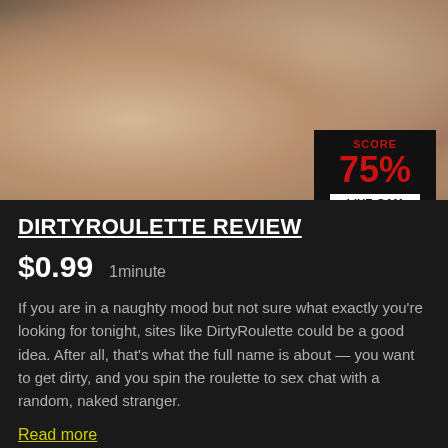[Figure (photo): Close-up photo of a person lying on a couch/sofa in a cozy setting]
DIRTYROULETTE REVIEW
$0.99  1minute
If you are in a naughty mood but not sure what exactly you're looking for tonight, sites like DirtyRoulette could be a good idea. After all, that's what the full name is about — you want to get dirty, and you spin the roulette to sex chat with a random, naked stranger.
Read more
DIRTYROULETTE REVIEW
FULL REVIEW
VISIT SITE